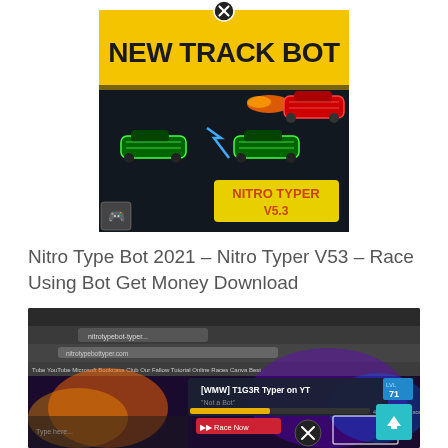[Figure (screenshot): Game promotional banner for 'NEW TRACK BOT' featuring Nitro Typer V5.3 with racing cars on dark background with yellow header, close button at top]
Nitro Type Bot 2021 – Nitro Typer V53 – Race Using Bot Get Money Download
[Figure (screenshot): Screenshot of Nitro Type game in browser showing '[WMW] T1G3R Typer on YT' with 'Not a Bot' subtitle, browser chrome visible at top, colorful game interface with close/X button overlay]